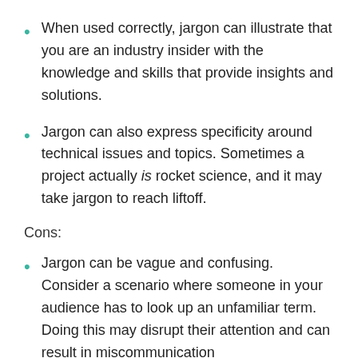When used correctly, jargon can illustrate that you are an industry insider with the knowledge and skills that provide insights and solutions.
Jargon can also express specificity around technical issues and topics. Sometimes a project actually is rocket science, and it may take jargon to reach liftoff.
Cons:
Jargon can be vague and confusing. Consider a scenario where someone in your audience has to look up an unfamiliar term. Doing this may disrupt their attention and can result in miscommunication